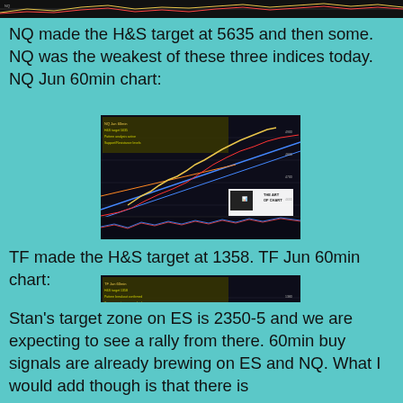[Figure (screenshot): Top partial chart strip showing financial/trading chart, dark background with price data]
NQ made the H&S target at 5635 and then some. NQ was the weakest of these three indices today. NQ Jun 60min chart:
[Figure (screenshot): NQ Jun 60min trading chart with candlesticks, trendlines, annotations, and The Art of Chart logo watermark]
TF made the H&S target at 1358. TF Jun 60min chart:
[Figure (screenshot): TF Jun 60min trading chart with candlesticks, trendlines, annotations, and The Art of Chart logo watermark]
Stan's target zone on ES is 2350-5 and we are expecting to see a rally from there. 60min buy signals are already brewing on ES and NQ. What I would add though is that there is